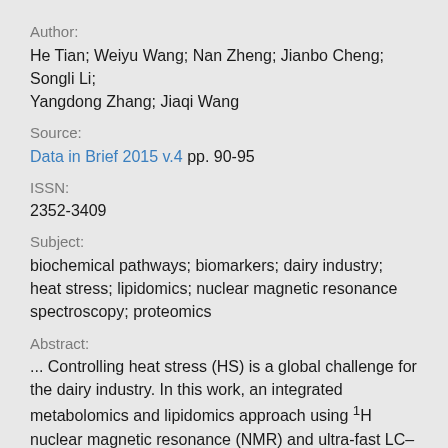Author:
He Tian; Weiyu Wang; Nan Zheng; Jianbo Cheng; Songli Li; Yangdong Zhang; Jiaqi Wang
Source:
Data in Brief 2015 v.4 pp. 90-95
ISSN:
2352-3409
Subject:
biochemical pathways; biomarkers; dairy industry; heat stress; lipidomics; nuclear magnetic resonance spectroscopy; proteomics
Abstract:
... Controlling heat stress (HS) is a global challenge for the dairy industry. In this work, an integrated metabolomics and lipidomics approach using ¹H nuclear magnetic resonance (NMR) and ultra-fast LC–MS in combination with multivariate analyses was employed to investigate the discrimination of plasma metabolic profiles between HS-free and HS-lactating dairy sows. Here we provide the